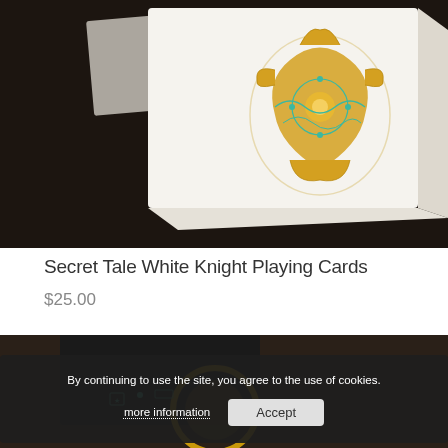[Figure (photo): White playing card box with gold and teal ornamental design on dark background]
Secret Tale White Knight Playing Cards
$25.00
[Figure (photo): Dark playing card box with gold circular design, partially visible at bottom of page]
By continuing to use the site, you agree to the use of cookies.
more information   Accept